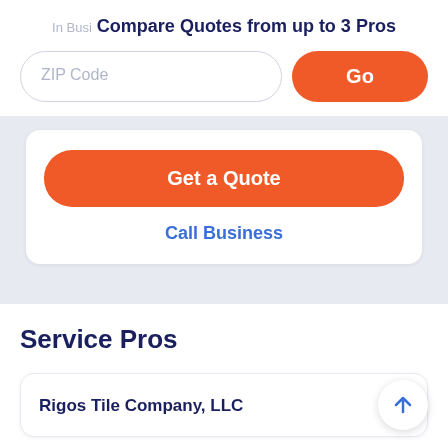Compare Quotes from up to 3 Pros
ZIP Code
Go
Get a Quote
Call Business
Service Pros
Rigos Tile Company, LLC